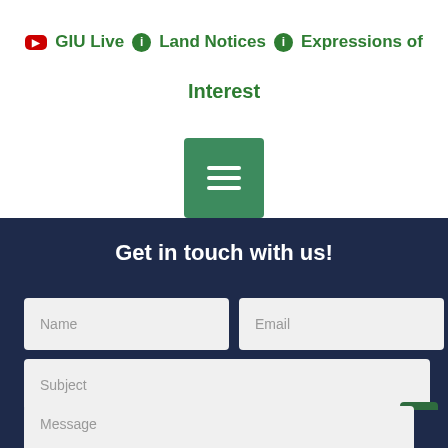GIU Live  Land Notices  Expressions of Interest
[Figure (screenshot): Green hamburger menu button]
Get in touch with us!
Name  Email  Subject  Message form fields